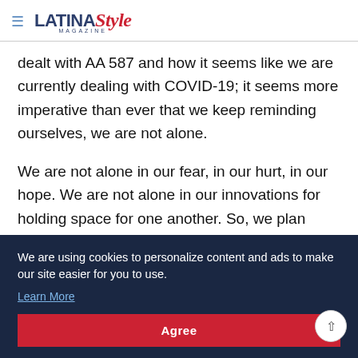LATINA Style MAGAZINE
dealt with AA 587 and how it seems like we are currently dealing with COVID-19; it seems more imperative than ever that we keep reminding ourselves, we are not alone.
We are not alone in our fear, in our hurt, in our hope. We are not alone in our innovations for holding space for one another. So, we plan Zoom happy hours, and [continues] college [continues] recommendations [continues] strangers who are trying to understand our industry.
We are using cookies to personalize content and ads to make our site easier for you to use.
Learn More
Agree